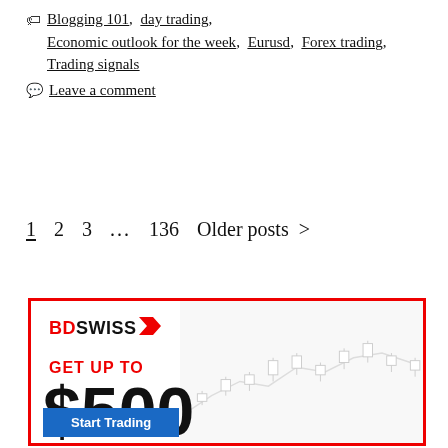🏷 Blogging 101, day trading, Economic outlook for the week, Eurusd, Forex trading, Trading signals
💬 Leave a comment
1  2  3  ...  136  Older posts  >
[Figure (illustration): BDSwiss advertisement banner with red border. Shows BDSwiss logo, 'GET UP TO $500 DEPOSIT BONUS' text, a 'Start Trading' blue button, and a candlestick chart background.]